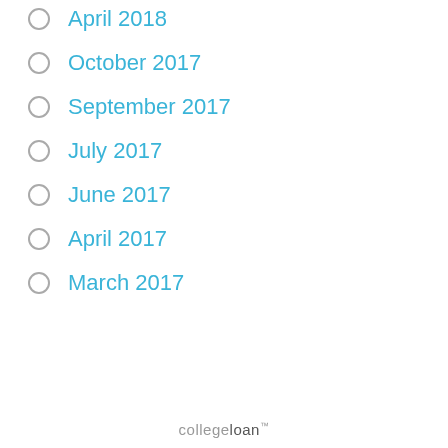April 2018
October 2017
September 2017
July 2017
June 2017
April 2017
March 2017
collegeloan